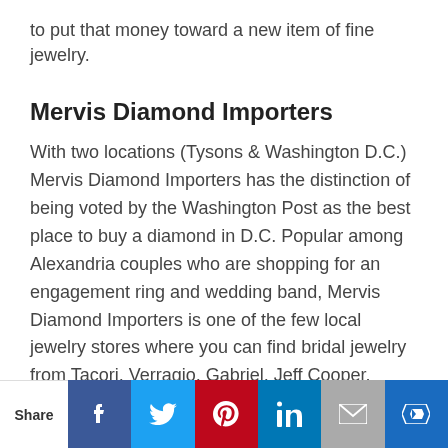to put that money toward a new item of fine jewelry.
Mervis Diamond Importers
With two locations (Tysons & Washington D.C.) Mervis Diamond Importers has the distinction of being voted by the Washington Post as the best place to buy a diamond in D.C. Popular among Alexandria couples who are shopping for an engagement ring and wedding band, Mervis Diamond Importers is one of the few local jewelry stores where you can find bridal jewelry from Tacori, Verragio, Gabriel, Jeff Cooper, Artcarved, and Christopher Designs.
Their website has an excellent search function where